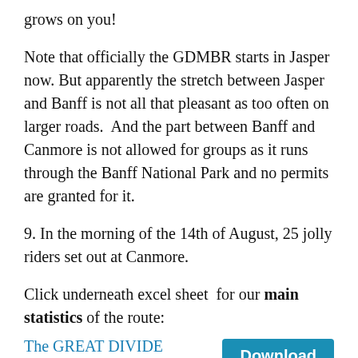grows on you!
Note that officially the GDMBR starts in Jasper now. But apparently the stretch between Jasper and Banff is not all that pleasant as too often on larger roads.  And the part between Banff and Canmore is not allowed for groups as it runs through the Banff National Park and no permits are granted for it.
9. In the morning of the 14th of August, 25 jolly riders set out at Canmore.
Click underneath excel sheet  for our main statistics of the route:
The GREAT DIVIDE statistics-2019
Download